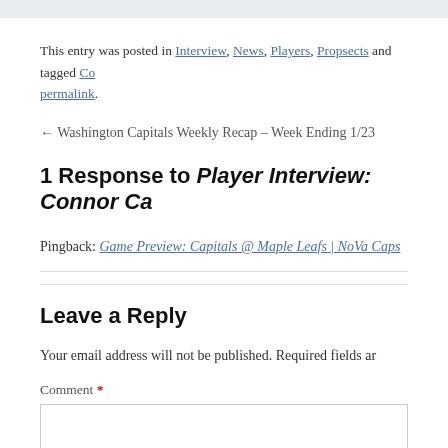This entry was posted in Interview, News, Players, Propsects and tagged Co… permalink.
← Washington Capitals Weekly Recap – Week Ending 1/23
1 Response to Player Interview: Connor Ca…
Pingback: Game Preview: Capitals @ Maple Leafs | NoVa Caps
Leave a Reply
Your email address will not be published. Required fields ar…
Comment *